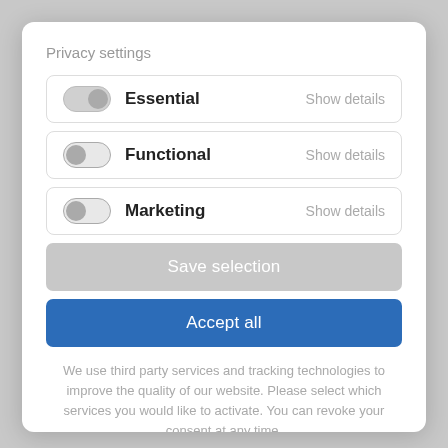Privacy settings
Essential — Show details
Functional — Show details
Marketing — Show details
Save selection
Accept all
We use third party services and tracking technologies to improve the quality of our website. Please select which services you would like to activate. You can revoke your consent at any time.